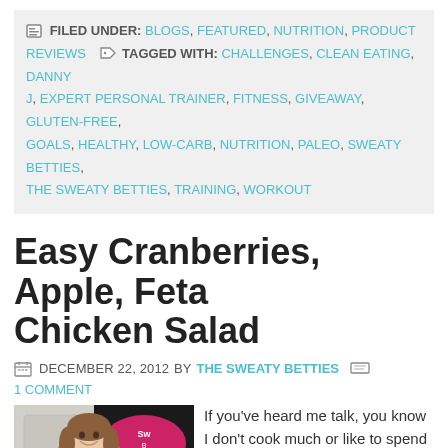FILED UNDER: BLOGS, FEATURED, NUTRITION, PRODUCT REVIEWS   TAGGED WITH: CHALLENGES, CLEAN EATING, DANNY J, EXPERT PERSONAL TRAINER, FITNESS, GIVEAWAY, GLUTEN-FREE, GOALS, HEALTHY, LOW-CARB, NUTRITION, PALEO, SWEATY BETTIES, THE SWEATY BETTIES, TRAINING, WORKOUT
Easy Cranberries, Apple, Feta Chicken Salad
DECEMBER 22, 2012 BY THE SWEATY BETTIES   1 COMMENT
[Figure (photo): A woman in a purple long-sleeve shirt standing in a kitchen, smiling at the camera. There is a Sweaty Betties logo/sign visible in the background. Kitchen counter with items visible.]
If you've heard me talk, you know I don't cook much or like to spend a lot of time in the kitchen…

Mostly, because I just eat as I go and I don't like waiting for my food! Ha! I eat half the meal by picking before it